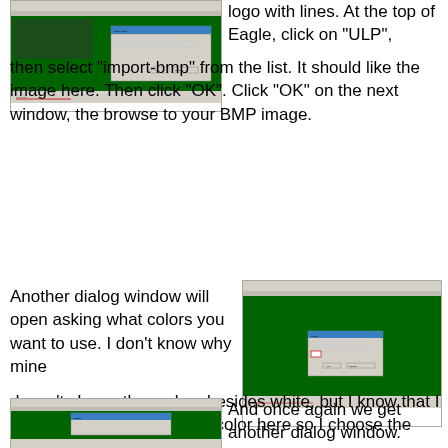[Figure (screenshot): Screenshot of Eagle PCB software showing a green canvas with a dialog window and import-bmp ULP]
logo with lines. At the top of Eagle, click on "ULP", then select "import-bmp" from the list. It should like the image here. Then click "OK". Click "OK" on the next window, the browse to your BMP image.
[Figure (screenshot): Screenshot of Eagle software with a dialog box asking about colors to use, showing a green canvas and a small dialog window]
Another dialog window will open asking what colors you want to use. I don't know why mine doesn't show other colors besides white, but I know that I don't what to use the white color here so I choose the other.
[Figure (screenshot): Screenshot of Eagle software showing another dialog window]
And once again we get another dialog window.